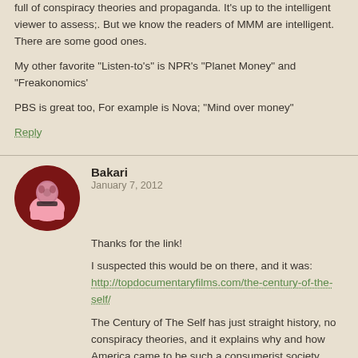full of conspiracy theories and propaganda. It's up to the intelligent viewer to assess;. But we know the readers of MMM are intelligent. There are some good ones.
My other favorite "Listen-to's" is NPR's "Planet Money" and "Freakonomics'
PBS is great too, For example is Nova; "Mind over money"
Reply
Bakari
January 7, 2012
Thanks for the link!
I suspected this would be on there, and it was: http://topdocumentaryfilms.com/the-century-of-the-self/
The Century of The Self has just straight history, no conspiracy theories, and it explains why and how America came to be such a consumerist society. Must see for anyone who ever makes or spends money in the United States
Reply